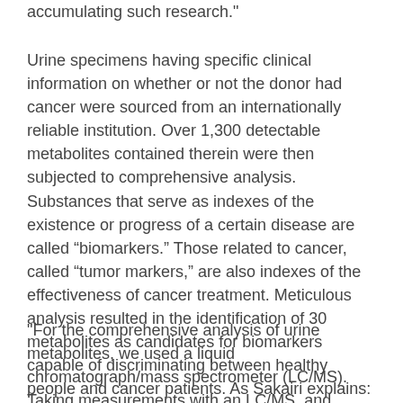accumulating such research."
Urine specimens having specific clinical information on whether or not the donor had cancer were sourced from an internationally reliable institution. Over 1,300 detectable metabolites contained therein were then subjected to comprehensive analysis. Substances that serve as indexes of the existence or progress of a certain disease are called “biomarkers.” Those related to cancer, called “tumor markers,” are also indexes of the effectiveness of cancer treatment. Meticulous analysis resulted in the identification of 30 metabolites as candidates for biomarkers capable of discriminating between healthy people and cancer patients. As Sakairi explains:
"For the comprehensive analysis of urine metabolites, we used a liquid chromatograph/mass spectrometer (LC/MS). Taking measurements with an LC/MS, and focusing on differences in the water-and fat-solubility of metabolites so as to optimize measurement conditions, we were able to